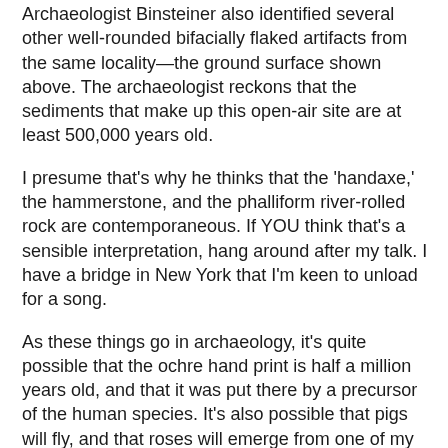Archaeologist Binsteiner also identified several other well-rounded bifacially flaked artifacts from the same locality—the ground surface shown above. The archaeologist reckons that the sediments that make up this open-air site are at least 500,000 years old.
I presume that's why he thinks that the 'handaxe,' the hammerstone, and the phalliform river-rolled rock are contemporaneous. If YOU think that's a sensible interpretation, hang around after my talk. I have a bridge in New York that I'm keen to unload for a song.
As these things go in archaeology, it's quite possible that the ochre hand print is half a million years old, and that it was put there by a precursor of the human species. It's also possible that pigs will fly, and that roses will emerge from one of my orifices the next time I have a BM.
If you were wondering why this field in Austria hasn't been featured in Nature, wonder no more. You could put it down to archaeologist Binsteiner not being boastful. After all, his earlier finds have been reported in some very-not-well-known journals, such as Linzer Archaeologie Forschungen